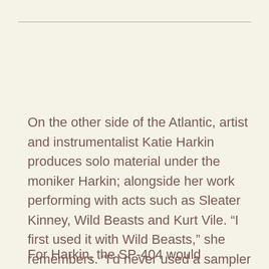On the other side of the Atlantic, artist and instrumentalist Katie Harkin produces solo material under the moniker Harkin; alongside her work performing with acts such as Sleater Kinney, Wild Beasts and Kurt Vile. “I first used it with Wild Beasts,” she remembers. “I’d never used a sampler before, but I toured with them playing the 404 and keyboards in about 30 countries. So it went a long way!”
For Harkin, the SP-404 would inevitably find its way